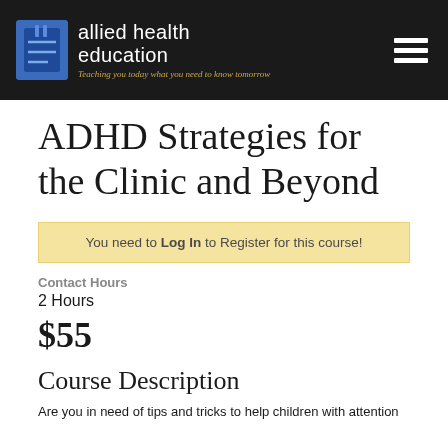allied health education — Teaching you today what you need to know tomorrow
ADHD Strategies for the Clinic and Beyond
You need to Log In to Register for this course!
Contact Hours
2 Hours
$55
Course Description
Are you in need of tips and tricks to help children with attention